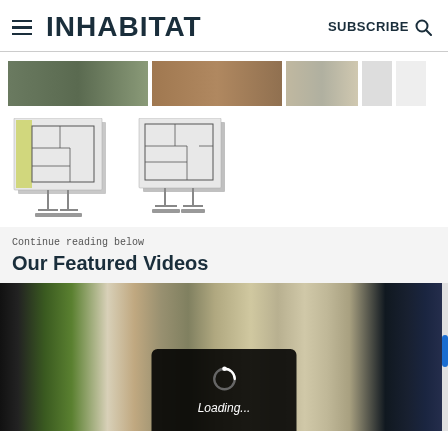INHABITAT | SUBSCRIBE
[Figure (screenshot): Thumbnail image strip showing three small photos of architectural/nature scenes and two blank thumbnails]
[Figure (illustration): Two architectural floor plan diagrams on display stands]
Continue reading below
Our Featured Videos
[Figure (screenshot): Video player showing a cooking/food preparation scene with a loading overlay displaying a spinning loader and 'Loading...' text]